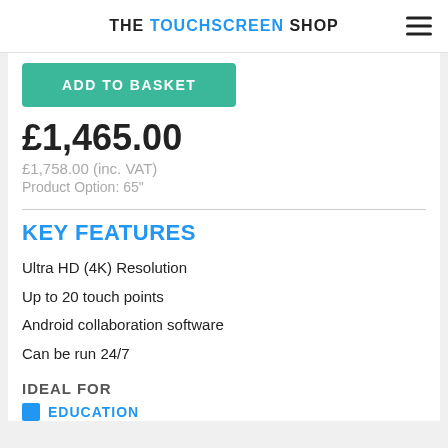THE TOUCHSCREEN SHOP
ADD TO BASKET
£1,465.00
£1,758.00 (inc. VAT)
Product Option: 65"
KEY FEATURES
Ultra HD (4K) Resolution
Up to 20 touch points
Android collaboration software
Can be run 24/7
IDEAL FOR
EDUCATION